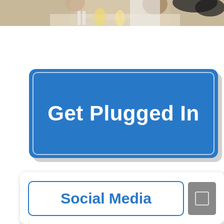[Figure (photo): Partial photo strip at top showing people dining/socializing at a table with drinks, cropped to show upper portion]
[Figure (infographic): Large blue button/banner with white text reading 'Get Plugged In', with rounded corners and inner border outline, drop shadow below]
[Figure (screenshot): White card panel at bottom containing a blue-outlined button labeled 'Social Media' in bold blue text, with a small grey icon box to its right]